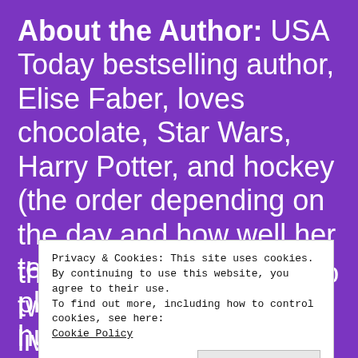About the Author: USA Today bestselling author, Elise Faber, loves chocolate, Star Wars, Harry Potter, and hockey (the order depending on the day and how well her team—the Sharks!—are playing). She and her husband also play as much hockey as they can squeeze into their schedules, so much so that their things, and is the mom to two exuberant boys. She lives in
Privacy & Cookies: This site uses cookies. By continuing to use this website, you agree to their use.
To find out more, including how to control cookies, see here: Cookie Policy
[Close and accept]